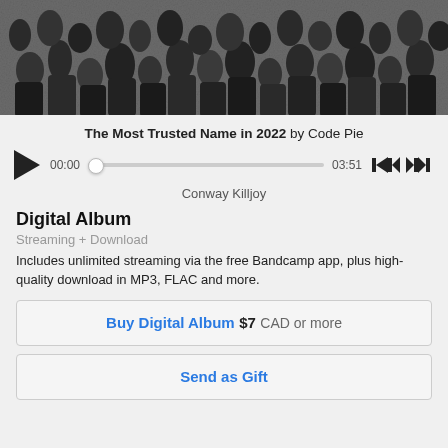[Figure (photo): Black and white photograph of a large crowd of people, resembling a concert or rally audience]
The Most Trusted Name in 2022 by Code Pie
[Figure (other): Audio player with play button, time display 00:00, scrubber bar, end time 03:51, skip-back and skip-forward controls]
Conway Killjoy
Digital Album
Streaming + Download
Includes unlimited streaming via the free Bandcamp app, plus high-quality download in MP3, FLAC and more.
Buy Digital Album $7 CAD or more
Send as Gift